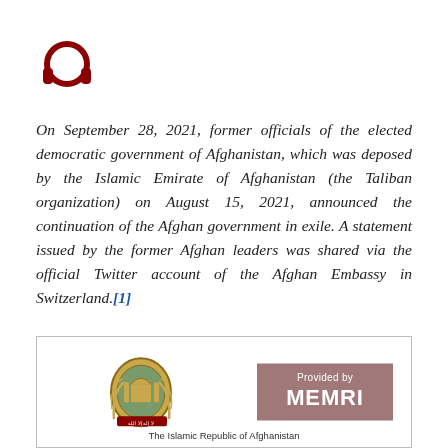[Figure (logo): Red headphones icon]
On September 28, 2021, former officials of the elected democratic government of Afghanistan, which was deposed by the Islamic Emirate of Afghanistan (the Taliban organization) on August 15, 2021, announced the continuation of the Afghan government in exile. A statement issued by the former Afghan leaders was shared via the official Twitter account of the Afghan Embassy in Switzerland.[1]
[Figure (photo): Framed box containing the Afghan national emblem (seal) on the left and a MEMRI 'Provided by MEMRI' badge on the right, with 'The Islamic Republic of Afghanistan' text at the bottom]